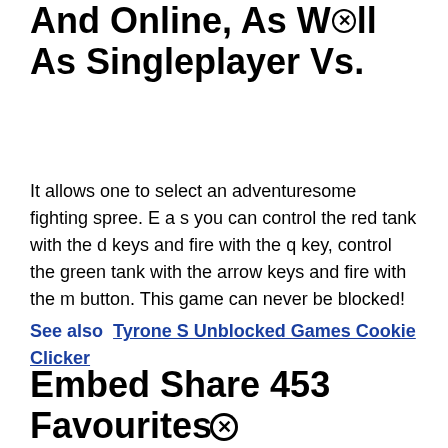And Online, As Well As Singleplayer Vs.
It allows one to select an adventuresome fighting spree. E a s you can control the red tank with the d keys and fire with the q key, control the green tank with the arrow keys and fire with the m button. This game can never be blocked!
See also  Tyrone S Unblocked Games Cookie Clicker
Embed Share 453 Favourites Austinblackbelt Published On 9 May, 2015.